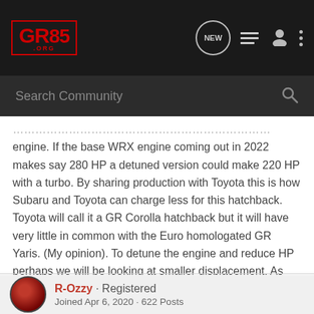[Figure (logo): GR86.ORG forum logo in red on dark background navbar with navigation icons (NEW bubble, list icon, user icon, dots menu)]
Search Community
engine. If the base WRX engine coming out in 2022 makes say 280 HP a detuned version could make 220 HP with a turbo. By sharing production with Toyota this is how Subaru and Toyota can charge less for this hatchback. Toyota will call it a GR Corolla hatchback but it will have very little in common with the Euro homologated GR Yaris. (My opinion). To detune the engine and reduce HP perhaps we will be looking at smaller displacement. As with the BRZ Toyota will be in charge of the styling.
R-Ozzy · Registered
Joined Apr 6, 2020 · 622 Posts